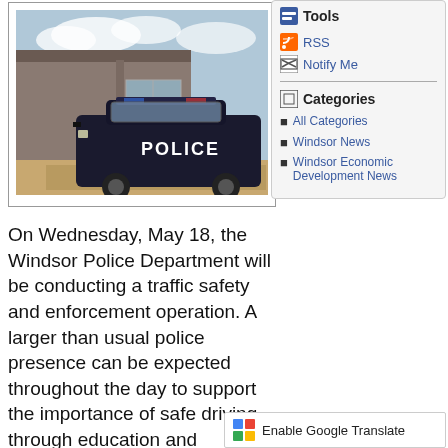[Figure (photo): A Windsor Police Department SUV parked in front of a building with glass doors.]
Tools
RSS
Notify Me
Categories
All Categories
Windsor News
Windsor Economic Development News
On Wednesday, May 18, the Windsor Police Department will be conducting a traffic safety and enforcement operation. A larger than usual police presence can be expected throughout the day to support the importance of safe driving through education and enforcement throughout the day.
Enable Google Translate